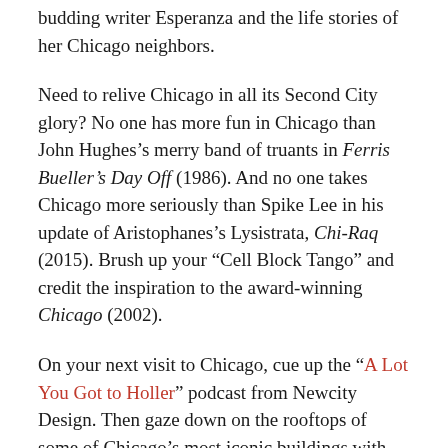budding writer Esperanza and the life stories of her Chicago neighbors.
Need to relive Chicago in all its Second City glory? No one has more fun in Chicago than John Hughes’s merry band of truants in Ferris Bueller’s Day Off (1986). And no one takes Chicago more seriously than Spike Lee in his update of Aristophanes’s Lysistrata, Chi-Raq (2015). Brush up your “Cell Block Tango” and credit the inspiration to the award-winning Chicago (2002).
On your next visit to Chicago, cue up the “A Lot You Got to Holler” podcast from Newcity Design. Then gaze down on the rooftops of some of Chicago’s most iconic buildings with the voices of architects, artists, and designers providing thoughtful commentary on the history and development of the skyline.
Or drop into the Magic Tavern’s podcast. hosted by Arnie, who fell through a portal into the land of Foon. He interviews